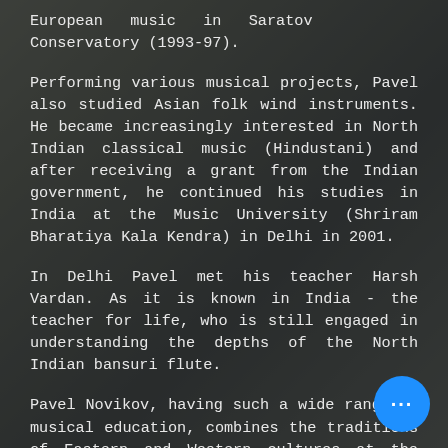European music in Saratov Conservatory (1993-97).
Performing various musical projects, Pavel also studied Asian folk wind instruments. He became increasingly interested in North Indian classical music (Hindustani) and after receiving a grant from the Indian government, he continued his studies in India at the Music University (Shriram Bharatiya Kala Kendra) in Delhi in 2001.
In Delhi Pavel met his teacher Harsh Vardan. As it is known in India - the teacher for life, who is still engaged in understanding the depths of the North Indian bansuri flute.
Pavel Novikov, having such a wide range of musical education, combines the traditions of Eastern and Western cultures at the highest professional level, for which he has repeatedly received international recognition.